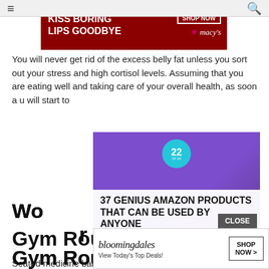[Figure (screenshot): Navigation bar with hamburger menu icon and search icon]
[Figure (photo): Macy's advertisement banner: KISS BORING LIPS GOODBYE with SHOP NOW button and Macy's star logo]
You will never get rid of the excess belly fat unless you sort out your stress and high cortisol levels. Assuming that you are eating well and taking care of your overall health, as soon as you will start to
[Figure (screenshot): Advertisement overlay: 37 GENIUS AMAZON PRODUCTS THAT CAN BE USED BY ANYONE with purple headphones background and badge showing 22]
Work A Medicine Ball Into Your Gym Routine
Seated medicine ball twists are a great way to get a toned midsection because they target your obliques while also engaging your abdominals and lower back muscles. When doing this exercise, Mark advises people to keep their feet on the floor or elevate their feet on the floor on the movement in your
[Figure (screenshot): Bloomingdale's advertisement: bloomingdales View Today's Top Deals! SHOP NOW > with CLOSE button]